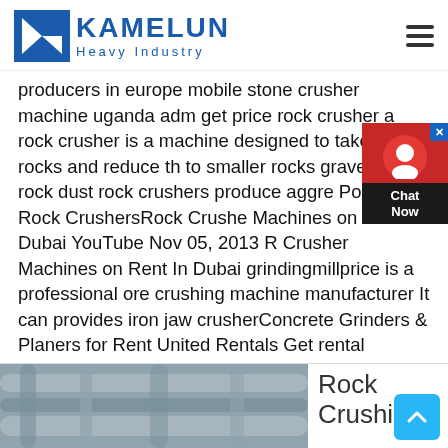[Figure (logo): Kamelun Heavy Industry logo with blue K icon and text]
producers in europe mobile stone crusher machine uganda adm get price rock crusher a rock crusher is a machine designed to take large rocks and reduce them to smaller rocks gravel or rock dust rock crushers produce aggre Portable Rock CrushersRock Crusher Machines on Rent In Dubai YouTube Nov 05, 2013 Rock Crusher Machines on Rent In Dubai grindingmillprice is a professional ore crushing machine manufacturer It can provides iron jaw crusherConcrete Grinders & Planers for Rent United Rentals Get rental information on Concrete Grinders & Planers from United Rentals Rent equipment, tools or Concrete & Masonry for your nextRock Grinder Machine In Dubai Rent
[Figure (photo): Industrial pipes and ducts in a facility]
Rock Crushing